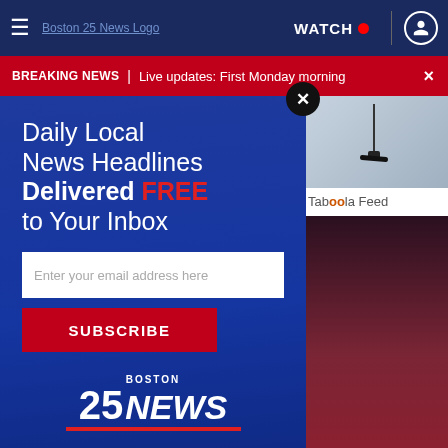≡  Boston 25 News Logo  WATCH 🔴  👤
BREAKING NEWS | Live updates: First Monday morning
[Figure (screenshot): Boston 25 News email subscription modal overlay with blue background. Headline: 'Daily Local News Headlines Delivered FREE to Your Inbox'. Email input field placeholder: 'Enter your email address here'. Red SUBSCRIBE button. Boston 25 NEWS logo at bottom.]
[Figure (photo): Background photo of dark red gummy candies being held in a hand, visible behind and below the modal overlay. Right side shows Taboola Feed with a lamp photo and 'Taboola Feed' label.]